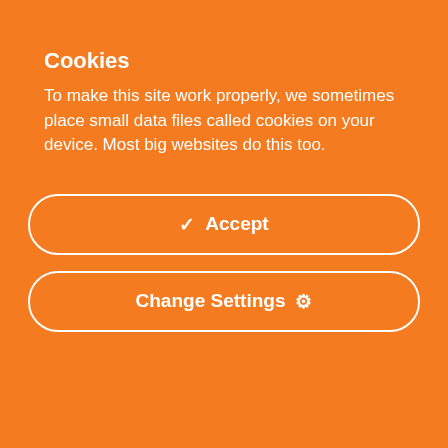[Figure (illustration): Worldwide Talks 2022 advertisement banner with fashion model, geometric shapes, and REGISTER NOW button]
definitely wasn't a burden. They've already made hundreds of thousands and may just trip out the pandemic indefinitely.
Cookies
To make this site work properly, we sometimes place small data files called cookies on your device. Most big websites do this too.
✔ Accept
Change Settings ⚙